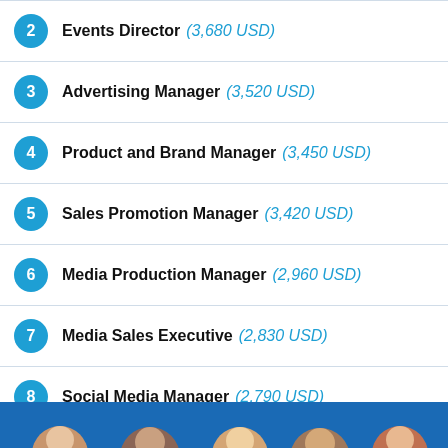2  Events Director  (3,680 USD)
3  Advertising Manager  (3,520 USD)
4  Product and Brand Manager  (3,450 USD)
5  Sales Promotion Manager  (3,420 USD)
6  Media Production Manager  (2,960 USD)
7  Media Sales Executive  (2,830 USD)
8  Social Media Manager  (2,790 USD)
9  Digital Media Strategist  (2,700 USD)
10  Advertising Account Manager  (2,630 USD)
[Figure (photo): Blue banner with partial photos of people at the bottom of the page]